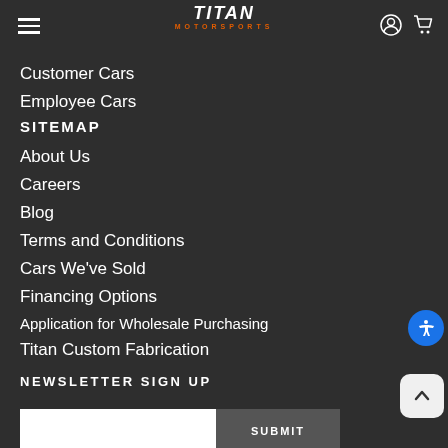TITAN MOTORSPORTS
Customer Cars
Employee Cars
SITEMAP
About Us
Careers
Blog
Terms and Conditions
Cars We've Sold
Financing Options
Application for Wholesale Purchasing
Titan Custom Fabrication
NEWSLETTER SIGN UP